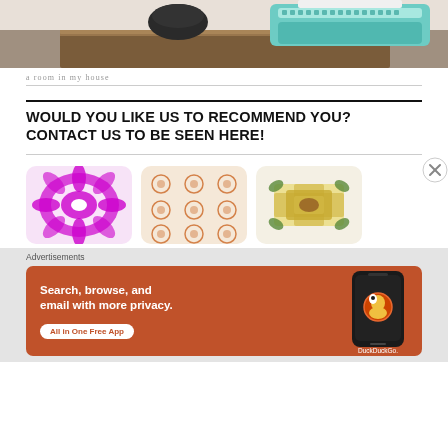[Figure (photo): Top portion of a photo showing a wooden desk with a teal/mint typewriter and possibly other desk objects, bottom of the image cropped]
a room in my house
WOULD YOU LIKE US TO RECOMMEND YOU? CONTACT US TO BE SEEN HERE!
[Figure (photo): Three decorative tile pattern images side by side: purple mandala pattern, peach/orange repeating floral pattern, and green/yellow/brown leaf tile pattern]
Advertisements
[Figure (illustration): DuckDuckGo advertisement banner: orange background with text 'Search, browse, and email with more privacy. All in One Free App' and image of a smartphone with DuckDuckGo logo]